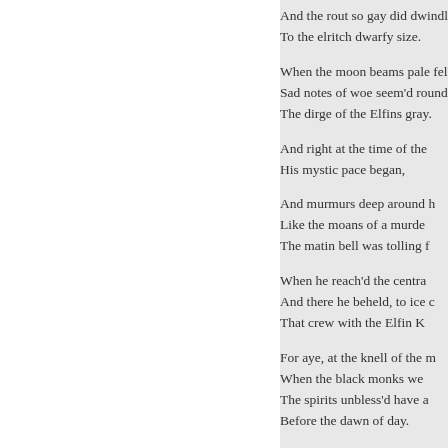And the rout so gay did dwindle
To the elritch dwarfy size.

When the moon beams pale fell
Sad notes of woe seem'd round h
The dirge of the Elfins gray.

And right at the time of the
His mystic pace began,

And murmurs deep around h
Like the moans of a murde
The matin bell was tolling f

When he reach'd the centra
And there he beheld, to ice c
That crew with the Elfin K

For aye, at the knell of the m
When the black monks we
The spirits unbless'd have a
Before the dawn of day.